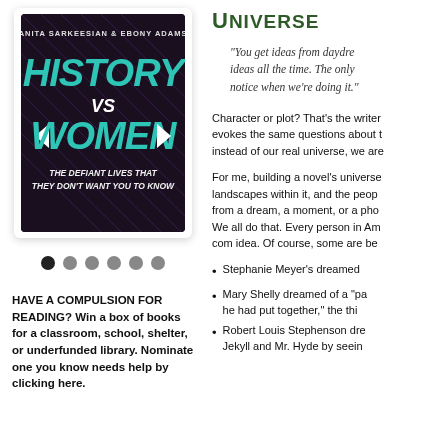[Figure (photo): Book cover of 'History vs Women: The Defiant Lives They Don't Want You to Know' by Anita Sarkeesian & Ebony Adams. Dark background with teal geometric lettering.]
[Figure (other): Navigation dots indicator: 6 dots, first one dark/active, rest gray]
HAVE A COMPULSION FOR READING? Win a box of books for a classroom, school, shelter, or underfunded library. Nominate one you know needs help by clicking here.
Universe
"You get ideas from daydreaming. You get ideas all the time. The only difference is we notice when we're doing it."
Character or plot? That's the writer's question. It evokes the same questions about our universe. But instead of our real universe, we are
For me, building a novel's universe starts with the landscapes within it, and the people who inhabit it — from a dream, a moment, or a photo, or a feeling. We all do that. Every person in America has a dot-com idea. Of course, some are be
Stephanie Meyer's dreamed
Mary Shelly dreamed of a "pa he had put together," the thi
Robert Louis Stephenson dre Jekyll and Mr. Hyde by seein